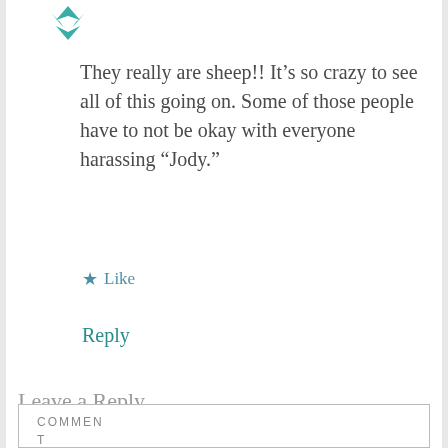[Figure (logo): Teal/green decorative avatar icon made of leaf or petal shapes]
They really are sheep!! It’s so crazy to see all of this going on. Some of those people have to not be okay with everyone harassing “Jody.”
★ Like
Reply
Leave a Reply
Your email address will not be published. Required fields are marked *
COMMEN T*